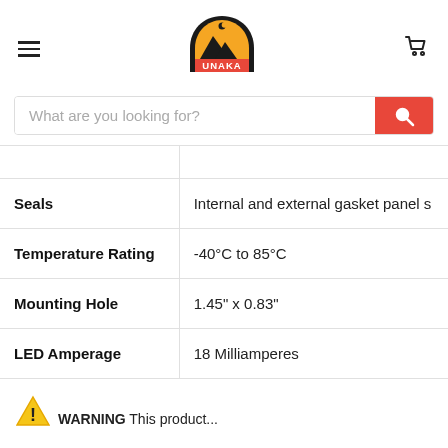Unaka - navigation header with hamburger menu, logo, and cart icon
[Figure (logo): Unaka brand logo: mountain/archer silhouette inside arch shape with yellow and black colors, red 'UNAKA' text banner]
What are you looking for?
| Seals | Internal and external gasket panel s |
| Temperature Rating | -40°C to 85°C |
| Mounting Hole | 1.45" x 0.83" |
| LED Amperage | 18 Milliamperes |
[Figure (illustration): Yellow triangle warning sign with exclamation mark]
WARNING This product...